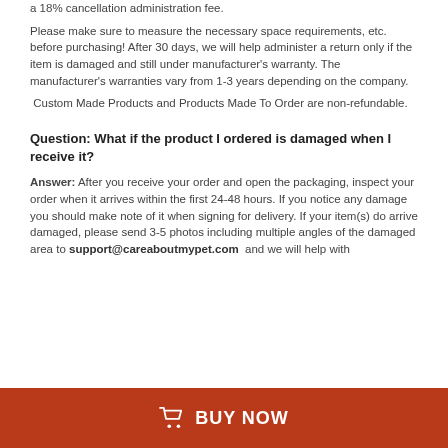a 18% cancellation administration fee.
Please make sure to measure the necessary space requirements, etc. before purchasing! After 30 days, we will help administer a return only if the item is damaged and still under manufacturer's warranty. The manufacturer's warranties vary from 1-3 years depending on the company.
Custom Made Products and Products Made To Order are non-refundable.
Question: What if the product I ordered is damaged when I receive it?
Answer: After you receive your order and open the packaging, inspect your order when it arrives within the first 24-48 hours. If you notice any damage you should make note of it when signing for delivery. If your item(s) do arrive damaged, please send 3-5 photos including multiple angles of the damaged area to support@careaboutmypet.com  and we will help with
BUY NOW